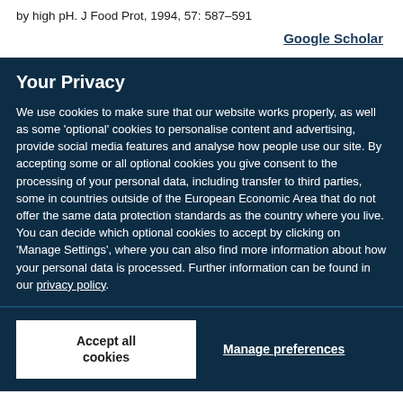by high pH. J Food Prot, 1994, 57: 587–591
Google Scholar
Your Privacy
We use cookies to make sure that our website works properly, as well as some 'optional' cookies to personalise content and advertising, provide social media features and analyse how people use our site. By accepting some or all optional cookies you give consent to the processing of your personal data, including transfer to third parties, some in countries outside of the European Economic Area that do not offer the same data protection standards as the country where you live. You can decide which optional cookies to accept by clicking on 'Manage Settings', where you can also find more information about how your personal data is processed. Further information can be found in our privacy policy.
Accept all cookies
Manage preferences